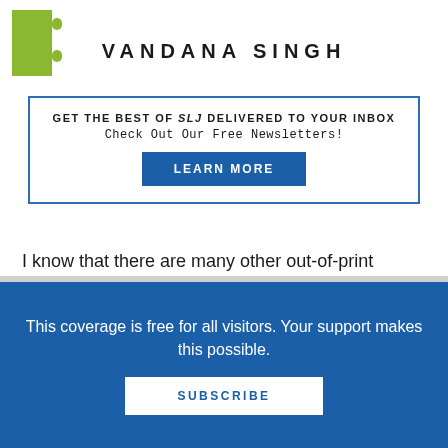VANDANA SINGH
GET THE BEST OF SLJ DELIVERED TO YOUR INBOX
Check Out Our Free Newsletters!
LEARN MORE
I know that there are many other out-of-print diverse books out there.  Can you think of any favorites of your own?
This coverage is free for all visitors. Your support makes this possible.
SUBSCRIBE